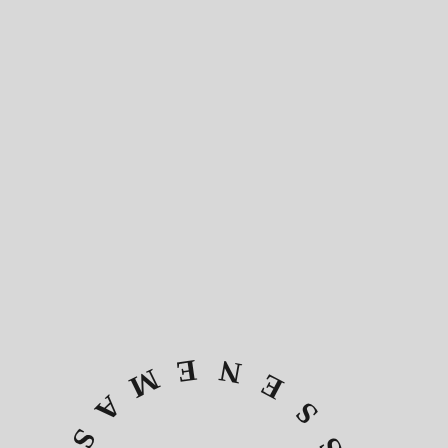[Figure (illustration): Partial circular arc of text reading '...G US SAMENESS...' arranged in a semicircular stamp-like typographic layout. The visible upper arc portion shows 'SAMENESS' across the top of the arc and 'G US' on the lower left, with the bottom of the circle cut off at the page edge. Black serif/display type on light grey background.]